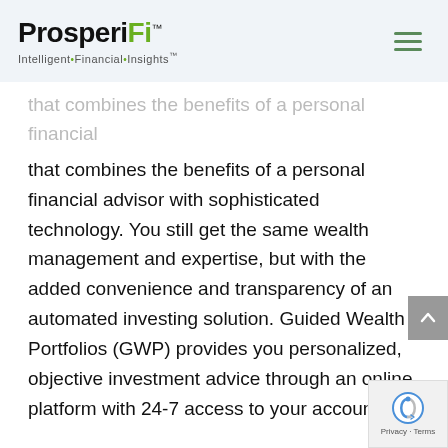ProsperiFi™ Intelligent•Financial•Insights™
that combines the benefits of a personal financial advisor with sophisticated technology. You still get the same wealth management and expertise, but with the added convenience and transparency of an automated investing solution. Guided Wealth Portfolios (GWP) provides you personalized, objective investment advice through an online platform with 24-7 access to your accounts.
While other digital investing solutions, or robo advisors, offer online investment management don't include a direct personal relationship with dedicated financial advisor. With GWP, we'll be your